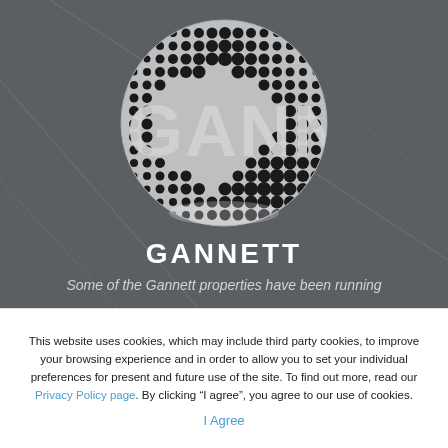[Figure (logo): Gannett circular logo with halftone dot pattern and metallic GANNETT lettering on dark gray background]
GANNETT
Some of the Gannett properties have been running
This website uses cookies, which may include third party cookies, to improve your browsing experience and in order to allow you to set your individual preferences for present and future use of the site. To find out more, read our Privacy Policy page. By clicking "I agree", you agree to our use of cookies.
I Agree